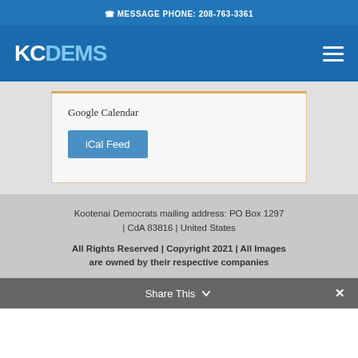MESSAGE PHONE: 208-763-3361
[Figure (logo): KCDEMS logo in white and light blue on blue background with hamburger menu icon]
Google Calendar
iCal Feed
Kootenai Democrats mailing address: PO Box 1297 | CdA 83816 | United States
All Rights Reserved | Copyright 2021 | All Images are owned by their respective companies
Share This ✕